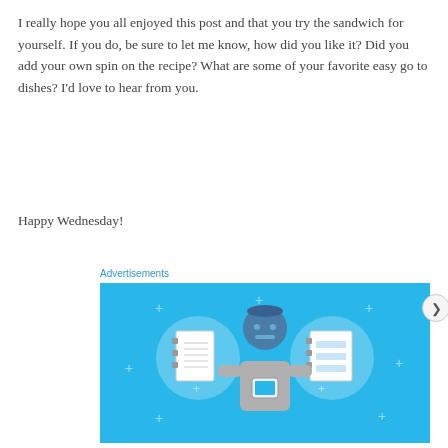I really hope you all enjoyed this post and that you try the sandwich for yourself. If you do, be sure to let me know, how did you like it? Did you add your own spin on the recipe? What are some of your favorite easy go to dishes? I'd love to hear from you.
Happy Wednesday!
Advertisements
[Figure (illustration): A blue-background advertisement banner showing a cartoon person holding a phone, flanked by two circles containing notebook/document icons, with small plus signs scattered in the background.]
Privacy & Cookies: This site uses cookies. By continuing to use this website, you agree to their use.
To find out more, including how to control cookies, see here: Cookie Policy
Close and accept